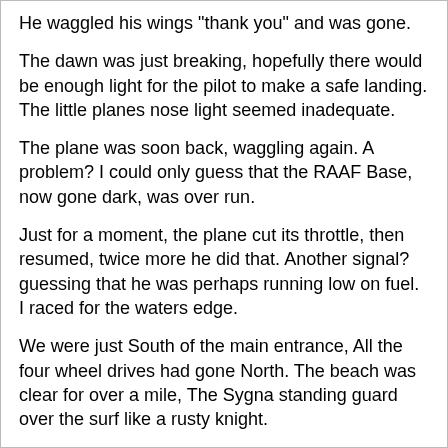He waggled his wings "thank you" and was gone.
The dawn was just breaking, hopefully there would be enough light for the pilot to make a safe landing. The little planes nose light seemed inadequate.
The plane was soon back, waggling again. A problem? I could only guess that the RAAF Base, now gone dark, was over run.
Just for a moment, the plane cut its throttle, then resumed, twice more he did that. Another signal? guessing that he was perhaps running low on fuel. I raced for the waters edge.
We were just South of the main entrance, All the four wheel drives had gone North. The beach was clear for over a mile, The Sygna standing guard over the surf like a rusty knight.
A gentle wind from the south, the sky getting a bit brighter. I pulled off my T shirt and held it high, there wasn't enough breeze to show the pilot a direction.
I threw the shirt back on, and drew a big "S" in the sand,